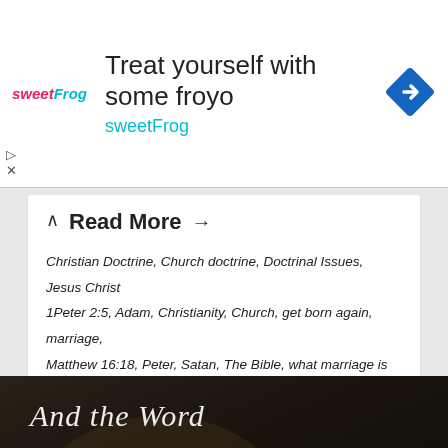[Figure (screenshot): sweetFrog advertisement banner with logo, headline 'Treat yourself with some froyo', subline 'sweetFrog', and a blue diamond navigation icon on the right]
Read More →
Christian Doctrine, Church doctrine, Doctrinal Issues, Jesus Christ
1Peter 2:5, Adam, Christianity, Church, get born again, marriage,
Matthew 16:18, Peter, Satan, The Bible, what marriage is about
[Figure (illustration): Dark religious artwork showing calligraphy text 'And the Word was made flesh, and dwelt among us,' with a robed figure in background]